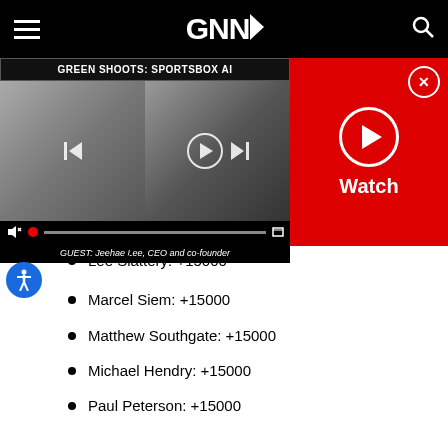GNN
[Figure (screenshot): Video player showing GREEN SHOOTS: SPORTSBOX AI with guest Jeehae Lee, CEO and co-founder. Two video panels side by side with playback controls. Red Watch panel on the right with play button.]
Lee Slattery: +15000
Marcel Siem: +15000
Matthew Southgate: +15000
Michael Hendry: +15000
Paul Peterson: +15000
Pep Angles: +15000
S S P Chowrasia: +15000
Adrian Otaegui: +20000